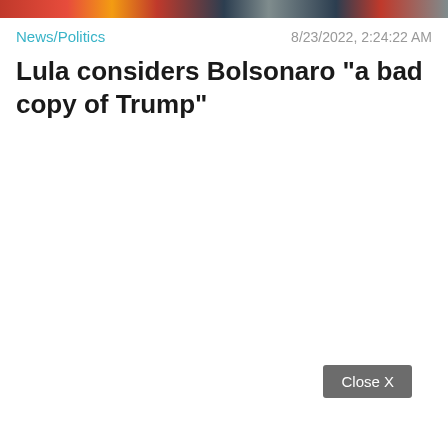[Figure (photo): Horizontal image strip at the top of the page showing a colorful banner/photo with red, orange, dark and gray tones]
News/Politics
8/23/2022, 2:24:22 AM
Lula considers Bolsonaro "a bad copy of Trump"
Close X